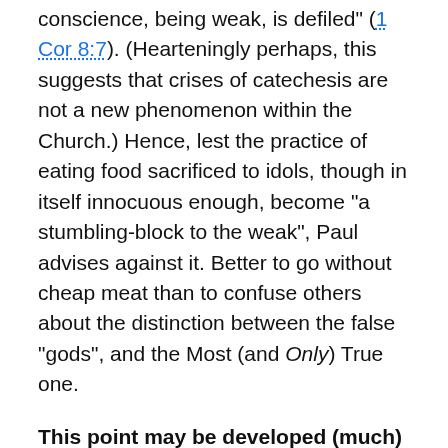conscience, being weak, is defiled" (1 Cor 8:7). (Hearteningly perhaps, this suggests that crises of catechesis are not a new phenomenon within the Church.) Hence, lest the practice of eating food sacrificed to idols, though in itself innocuous enough, become "a stumbling-block to the weak", Paul advises against it. Better to go without cheap meat than to confuse others about the distinction between the false "gods", and the Most (and Only) True one.
This point may be developed (much) further still. In fact, it is perfectly possible to turn Justin and Paul's arguments on their head. What if it is not the Greco-Roman gods who are misnamed, but the Most True 'God'? After all, let us not forget that the name God is itself a borrowed word: Hellenized Jews stole as a name for Yahweh the already-existing Greek descriptive noun theos. But, as Paul and Justin so rightly insist, the Judeo-Christian God is not